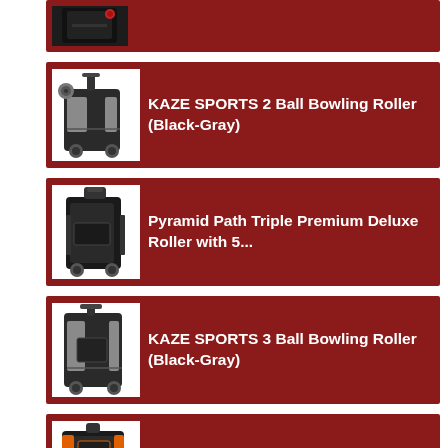[Figure (photo): Partial view of a bowling bag product at the top of the page]
[Figure (photo): KAZE SPORTS 2 Ball Bowling Roller bag in Black-Gray color]
KAZE SPORTS 2 Ball Bowling Roller (Black-Gray)
[Figure (photo): Pyramid Path Triple Premium Deluxe Roller bowling bag]
Pyramid Path Triple Premium Deluxe Roller with 5...
[Figure (photo): KAZE SPORTS 3 Ball Bowling Roller bag in Black-Gray color]
KAZE SPORTS 3 Ball Bowling Roller (Black-Gray)
[Figure (photo): Hammer Premium 4-Ball Stackable Bowling Bag in orange and black]
Hammer Premium 4-Ball Stackable Bowling Bag,...